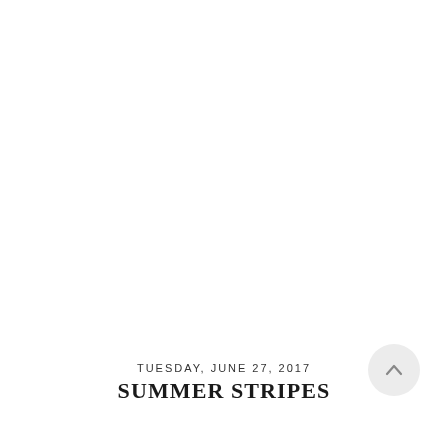TUESDAY, JUNE 27, 2017
SUMMER STRIPES